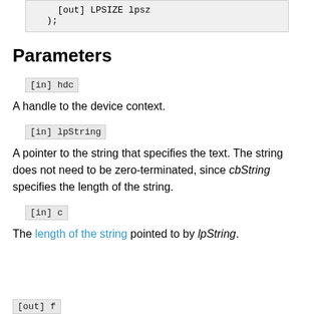[out] LPSIZE lpsz
);
Parameters
[in] hdc
A handle to the device context.
[in] lpString
A pointer to the string that specifies the text. The string does not need to be zero-terminated, since cbString specifies the length of the string.
[in] c
The length of the string pointed to by lpString.